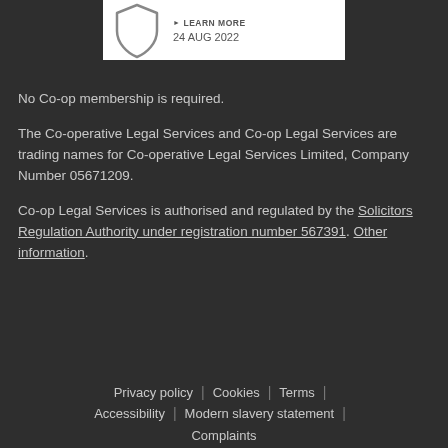[Figure (other): White card with shield icon, LEARN MORE link, and date 24 AUG 2022]
No Co-op membership is required.
The Co-operative Legal Services and Co-op Legal Services are trading names for Co-operative Legal Services Limited, Company Number 05671209.
Co-op Legal Services is authorised and regulated by the Solicitors Regulation Authority under registration number 567391. Other information.
Privacy policy | Cookies | Terms | Accessibility | Modern slavery statement | Complaints